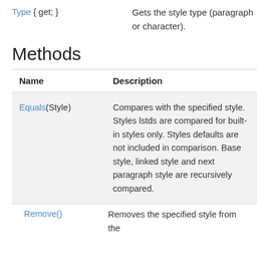Type { get; }    Gets the style type (paragraph or character).
Methods
| Name | Description |
| --- | --- |
| Equals(Style) | Compares with the specified style. Styles lstds are compared for built-in styles only. Styles defaults are not included in comparison. Base style, linked style and next paragraph style are recursively compared. |
| Remove() | Removes the specified style from the |